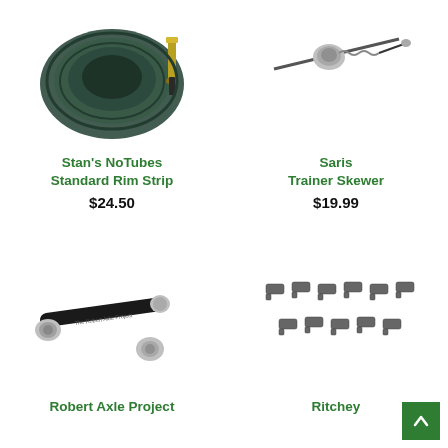[Figure (photo): Stan's NoTubes Standard Rim Strip product photo - green tubeless rim tape with valve stem]
Stan's NoTubes
Standard Rim Strip
$24.50
[Figure (photo): Saris Trainer Skewer product photo - metal skewer with spring and cap]
Saris
Trainer Skewer
$19.99
[Figure (photo): Robert Axle Project thru-axle product photo - black rod with silver end caps]
Robert Axle Project
[Figure (photo): Ritchey cable end caps product photo - multiple small gray metal cable ends arranged in rows]
Ritchey